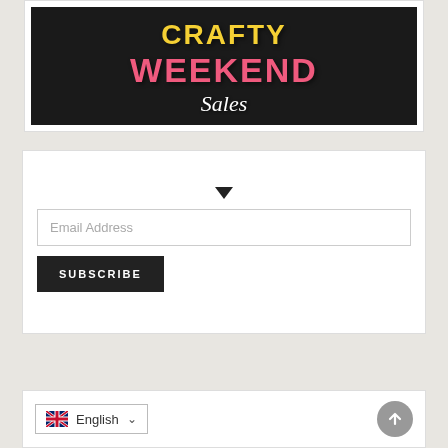[Figure (logo): Crafty Weekend Sales logo on dark background with yellow 'CRAFTY', pink 'WEEKEND', and white cursive 'Sales' text]
SUBSCRIBE TO BLOG
Email Address
SUBSCRIBE
English